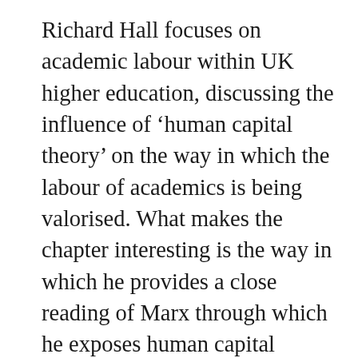Richard Hall focuses on academic labour within UK higher education, discussing the influence of ‘human capital theory’ on the way in which the labour of academics is being valorised. What makes the chapter interesting is the way in which he provides a close reading of Marx through which he exposes human capital theory as a theory of productivity that is made manifest in the intensification of labour time. This now operates in policy and in practice inside higher education and elsewhere. Hall’s response is to work against this reconceptualization of academic labour by advocating solidarity inside and outside universities so that academic labour, including that of students, is recognised as having the